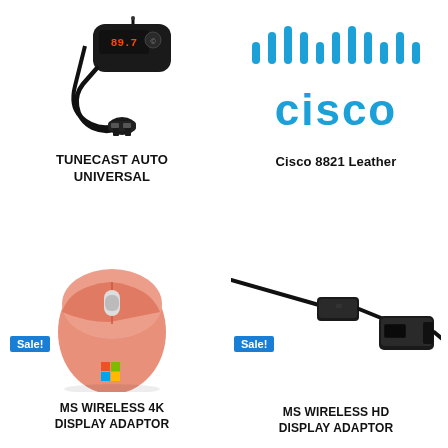[Figure (photo): FM transmitter car charger product photo (black device with red LED display showing 89.7 and a car charger plug)]
[Figure (logo): Cisco logo - blue bars/lines above blue text reading 'cisco']
TUNECAST AUTO UNIVERSAL
Cisco 8821 Leather
[Figure (photo): Peach/salmon colored Microsoft Bluetooth mouse product photo]
[Figure (photo): Microsoft Wireless HD Display Adapter - black cable with two connectors]
MS WIRELESS 4K DISPLAY ADAPTOR
MS WIRELESS HD DISPLAY ADAPTOR